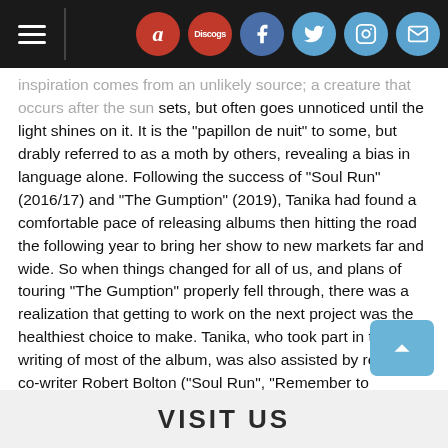Navigation bar with hamburger menu and social icons (Amazon, Discogs, Facebook, Twitter, Instagram, Mail)
inspiration comes from an unlikely source; a creature that occurs after the sun sets, but often goes unnoticed until the light shines on it. It is the "papillon de nuit" to some, but drably referred to as a moth by others, revealing a bias in language alone. Following the success of "Soul Run" (2016/17) and "The Gumption" (2019), Tanika had found a comfortable pace of releasing albums then hitting the road the following year to bring her show to new markets far and wide. So when things changed for all of us, and plans of touring "The Gumption" properly fell through, there was a realization that getting to work on the next project was the healthiest choice to make. Tanika, who took part in the writing of most of the album, was also assisted by regular co-writer Robert Bolton ("Soul Run", "Remember to Remember") and accomplished solo performer Tafari Anthony (Priyanka, of RuPaul's Drag Race). Featured guests include the multi-disciplinary artist Khari McClelland and rising Toronto rapper, DijahSB. Both Dakarai Morris-James (Joanna Majoko, BeBe Zahara Benet) and Sean "D/SHON" Henderson ("Love Overdue", Serena Ryder) assisted with vocal arrangements across multiple songs.
VISIT US